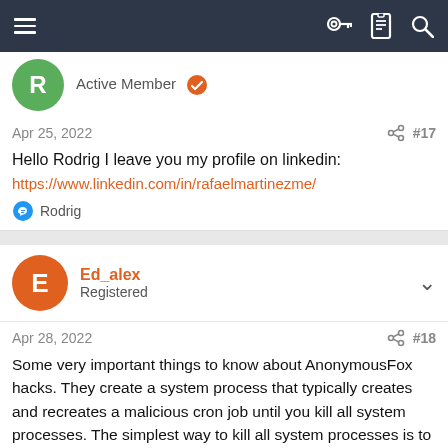Navigation bar with menu, key, document, and search icons
Active Member
Apr 25, 2022  #17
Hello Rodrig I leave you my profile on linkedin:
https://www.linkedin.com/in/rafaelmartinezme/
Rodrig
Ed_alex
Registered
Apr 28, 2022  #18
Some very important things to know about AnonymousFox hacks. They create a system process that typically creates and recreates a malicious cron job until you kill all system processes. The simplest way to kill all system processes is to switch your PHP server version and then delete the malicious cron job. After these critical first steps are done then check these 2 files: